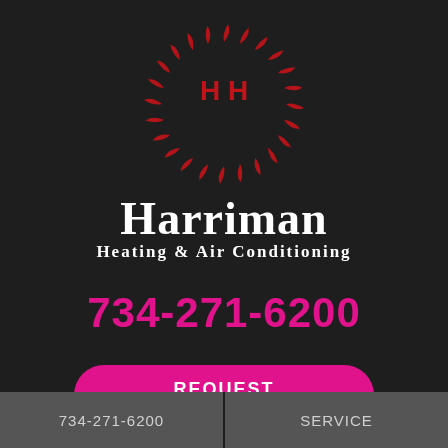[Figure (logo): Harriman Heating & Air Conditioning circular fan blade logo with red sweeping vanes and a dark background, with stylized H H letters in red in the center]
Harriman Heating & Air Conditioning
734-271-6200
REQUEST SERVICE
734-271-6200
SERVICE